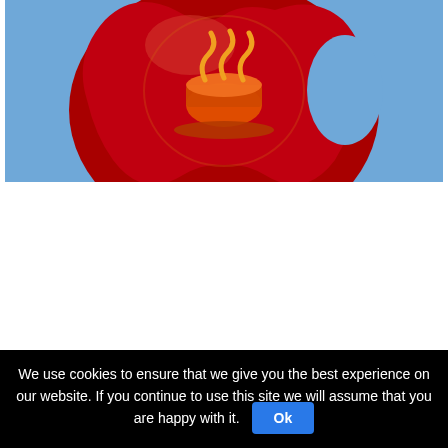[Figure (logo): Java logo: a red apple-like shape with a glowing orange and gold coffee cup / steam symbol on a blue background]
1. Download Latest Gradle Complete Release:
We use cookies to ensure that we give you the best experience on our website. If you continue to use this site we will assume that you are happy with it.  Ok